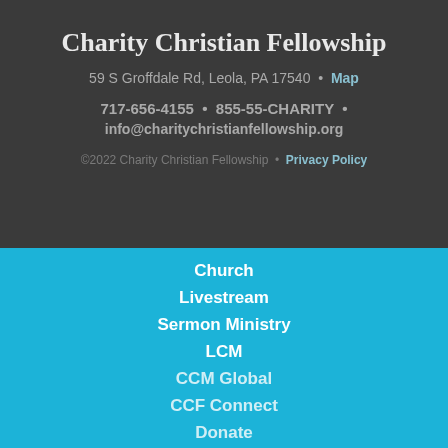Charity Christian Fellowship
59 S Groffdale Rd, Leola, PA 17540  •  Map
717-656-4155  •  855-55-CHARITY  •  info@charitychristianfellowship.org
©2022 Charity Christian Fellowship  •  Privacy Policy
Church
Livestream
Sermon Ministry
LCM
CCM Global
CCF Connect
Donate